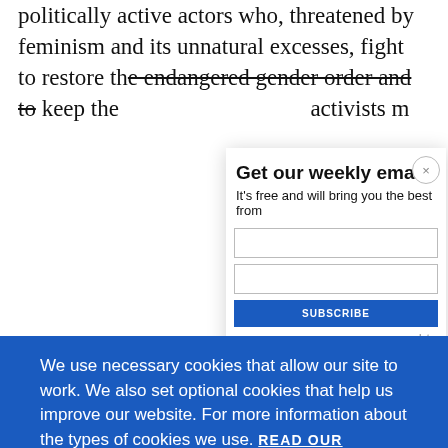politically active actors who, threatened by feminism and its unnatural excesses, fight to restore the endangered gender order and to keep the ... activists m...
[Figure (screenshot): Cookie consent banner overlaying a webpage. Blue background with text about cookie usage policy, a 'READ OUR COOKIES POLICY HERE' link, and two buttons: 'COOKIE SETTINGS' and 'ALLOW ALL COOKIES'.]
[Figure (screenshot): Email subscription modal popup with title 'Get our weekly email', subtitle 'It’s free and will bring you the best from', input fields, and a close button.]
speak on t...